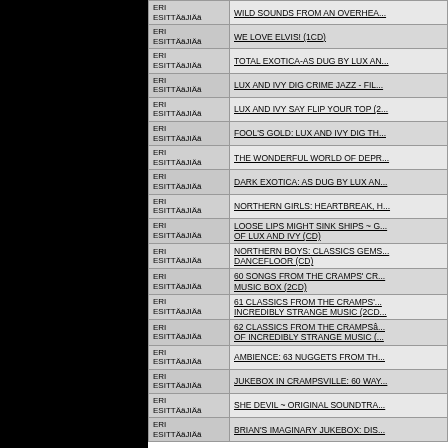| Esittäjä | Title |
| --- | --- |
| ERI ESITTÄJIÄ | WILD SOUNDS FROM AN OVERHEA... |
| ERI ESITTÄJIÄ | WE LOVE ELVIS! (1CD) |
| ERI ESITTÄJIÄ | TOTAL EXOTICA-AS DUG BY LUX AN... |
| ERI ESITTÄJIÄ | LUX AND IVY DIG CRIME JAZZ - FIL... |
| ERI ESITTÄJIÄ | LUX AND IVY SAY FLIP YOUR TOP (2... |
| ERI ESITTÄJIÄ | FOOL'S GOLD: LUX AND IVY DIG TH... |
| ERI ESITTÄJIÄ | THE WONDERFUL WORLD OF DEPR... |
| ERI ESITTÄJIÄ | DARK EXOTICA: AS DUG BY LUX AN... |
| ERI ESITTÄJIÄ | NORTHERN GIRLS: HEARTBREAK, H... |
| ERI ESITTÄJIÄ | LOOSE LIPS MIGHT SINK SHIPS ~ G... OF LUX AND IVY (CD) |
| ERI ESITTÄJIÄ | NORTHERN BOYS: CLASSICS GEMS... DANCEFLOOR (CD) |
| ERI ESITTÄJIÄ | 60 SONGS FROM THE CRAMPS' CR... MUSIC BOX (2CD) |
| ERI ESITTÄJIÄ | 61 CLASSICS FROM THE CRAMPS'... INCREDIBLY STRANGE MUSIC (2CD... |
| ERI ESITTÄJIÄ | 62 CLASSICS FROM THE CRAMPSâ... OF INCREDIBLY STRANGE MUSIC (... |
| ERI ESITTÄJIÄ | AMBIENCE: 63 NUGGETS FROM TH... |
| ERI ESITTÄJIÄ | JUKEBOX IN CRAMPSVILLE: 60 WAY... |
| ERI ESITTÄJIÄ | SHE DEVIL ~ ORIGINAL SOUNDTRA... |
| ERI ESITTÄJIÄ | BRIAN'S IMAGINARY JUKEBOX: DIS... |